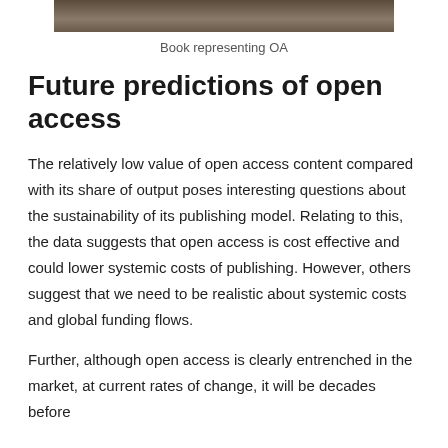[Figure (photo): Top portion of a book photo, cropped at upper edge of page]
Book representing OA
Future predictions of open access
The relatively low value of open access content compared with its share of output poses interesting questions about the sustainability of its publishing model. Relating to this, the data suggests that open access is cost effective and could lower systemic costs of publishing. However, others suggest that we need to be realistic about systemic costs and global funding flows.
Further, although open access is clearly entrenched in the market, at current rates of change, it will be decades before...